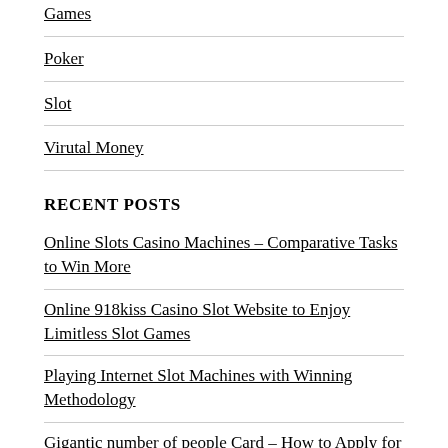Games
Poker
Slot
Virutal Money
RECENT POSTS
Online Slots Casino Machines – Comparative Tasks to Win More
Online 918kiss Casino Slot Website to Enjoy Limitless Slot Games
Playing Internet Slot Machines with Winning Methodology
Gigantic number of people Card – How to Apply for the Lottery?